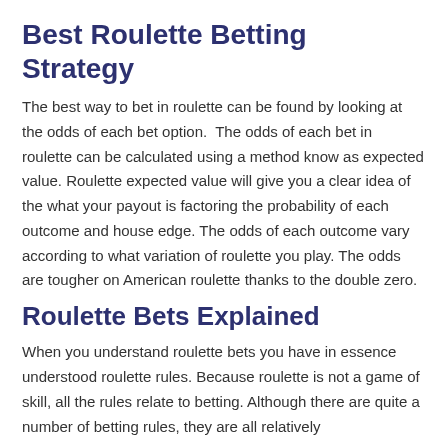Best Roulette Betting Strategy
The best way to bet in roulette can be found by looking at the odds of each bet option.  The odds of each bet in roulette can be calculated using a method know as expected value. Roulette expected value will give you a clear idea of the what your payout is factoring the probability of each outcome and house edge. The odds of each outcome vary according to what variation of roulette you play. The odds are tougher on American roulette thanks to the double zero.
Roulette Bets Explained
When you understand roulette bets you have in essence understood roulette rules. Because roulette is not a game of skill, all the rules relate to betting. Although there are quite a number of betting rules, they are all relatively